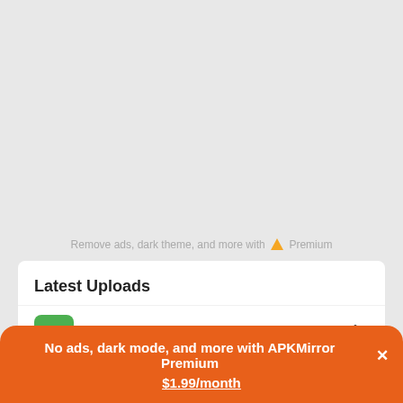Remove ads, dark theme, and more with ▲ Premium
Latest Uploads
Sideline - 2nd Line for Work 12.26
No ads, dark mode, and more with APKMirror Premium ✕
$1.99/month